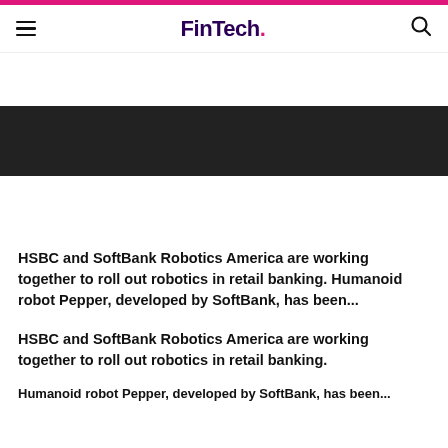FinTech.
[Figure (photo): Dark banner/image area at the top of the article page, partially visible]
HSBC and SoftBank Robotics America are working together to roll out robotics in retail banking. Humanoid robot Pepper, developed by SoftBank, has been...
HSBC and SoftBank Robotics America are working together to roll out robotics in retail banking.
Humanoid robot Pepper, developed by SoftBank, has been...